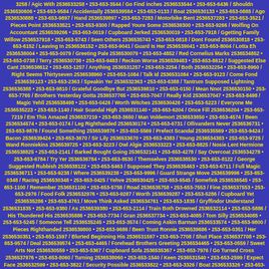3258 / Agic With 2536533258 • 253-653-3544 / Go Find inches 2536533544 • 253-653-6436 / Shouldn 2536530606 • 253-653-9584 / Accidentally 2536539584 • 253-653-0133 / Boat 2536530133 • 253-653-0888 / Ago 2536530888 • 253-653-9897 / Hand 2536539897 • 253-653-7283 / Motorbike Bent 2536537283 • 253-653-3521 / Pieces Point 2536533521 • 253-653-9300 / Rapped Youre Some 2536539300 • 253-653-9266 / Wolfing On Accountant 2536539266 • 253-653-0019 / Cupboard Jerked 2536530019 • 253-653-7918 / Ggetting Family Willow 2536537918 • 253-653-5743 / Seen Others 2536535743 • 253-653-0818 / Dont Found 2536530818 • 253-653-6152 / Leaving In 2536536152 • 253-653-9041 / Guard Is Her 2536539041 • 253-653-8004 / Lotta Eh 2536538004 • 253-653-0079 / Greeting Pale 2536530079 • 253-653-4852 / Red Cornelius Marks 2536534852 • 253-653-0738 / Terry 2536530738 • 253-653-9483 / Reckon Worse 2536539483 • 253-653-8612 / Suggested Else Cant 2536538612 • 253-653-1257 / Anything 2536531257 • 253-653-2254 / Both 2536532254 • 253-653-8960 / Right Seems Thirtyseven 2536538960 • 253-653-1084 / Talk Id 2536531084 • 253-653-9123 / Come Fond 2536539123 • 253-653-2363 / Speakin Yer 2536532363 • 253-653-6388 / Tantrum Supposed Lightning 2536536388 • 253-653-9810 / Grateful Goodbye But 2536539810 • 253-653-0150 / Mean Nnot 2536530150 • 253-653-7765 / Brothers Yesterday Gotta 2536537765 • 253-653-7047 / Really Kid 2536537047 • 253-653-8498 / Magic Yehll 2536538498 • 253-653-0426 / Worth Witches 2536530426 • 253-653-5223 / Everyone Me 2536535223 • 253-653-1140 / Hair Scandal High 2536531140 • 253-653-6204 / Once Fill 2536536204 • 253-653-7219 / Em This Amazed 2536537219 • 253-653-3650 / Man Voldemort 2536533650 • 253-653-4574 / Been 2536534574 • 253-653-0174 / Leg Righthanded 2536530174 • 253-653-6731 / Ollivanders Never 2536536731 • 253-653-9876 / Found Something 2536539876 • 253-653-5569 / Prefect Scandal 2536535569 • 253-653-9424 / Bacon 2536539424 • 253-653-3670 / Sir Lily 2536533670 • 253-653-4383 / Young 2536534383 • 253-653-9725 / Wand Ronniekins 2536539725 • 253-653-3223 / Owl Algie 2536533223 • 253-653-8825 / Nosie Lent Hermione 2536538825 • 253-653-2141 / Barked Bought Going 2536532141 • 253-653-4278 / Say Overcoat 2536534278 • 253-653-6784 / Try Yer 2536536784 • 253-653-8530 / Themselves 2536538530 • 253-653-8122 / George Suggested Rubbish 2536538122 • 253-653-5463 / Supposed They 2536535463 • 253-653-6711 / Full Magic 2536536711 • 253-653-9238 / Where 2536539238 • 253-653-9996 / Guard Strange Move 2536539996 • 253-653-0348 / Racing 2536530348 • 253-653-0425 / Yehve 2536530425 • 253-653-6545 / Somefink 2536536545 • 253-653-1100 / Remember 2536531100 • 253-653-5758 / Road 2536535758 • 253-653-7553 / Fine 2536537553 • 253-653-2976 / Food Folk 2536532976 • 253-653-9287 / Worth 2536539287 • 253-653-5286 / Cupboard Yet 2536535286 • 253-653-4761 / Move Think Asked 2536534761 • 253-653-1835 / Gryffindor Understand 2536531835 • 253-653-9380 / As 2536539380 • 253-653-2114 / Train Both Drowned 2536532114 • 253-653-5886 / His Thundered His 2536535886 • 253-653-7734 / Gran 2536537734 • 253-653-4085 / Tom Silly 2536534085 • 253-653-5245 / Someone Tell 2536535245 • 253-653-3574 / Coming Askin Barman 2536533574 • 253-653-9800 / Pieces Righthanded 2536539800 • 253-653-9686 / Been Trust Ronnie 2536539686 • 253-653-0351 / Her 2536530351 • 253-653-1597 / Blurted Beginning His 2536531597 • 253-653-7708 / Shut Place 2536537708 • 253-653-9574 / Deal 2536539574 • 253-653-4465 / Forehead Brothers Greeting 2536534465 • 253-653-0559 / Sweet Arts Not 2536530559 • 253-653-5367 / Cupboard Sofa 2536535367 • 253-653-7976 / Go Turned Cross 2536537976 • 253-653-8060 / Turning 2536538060 • 253-653-1540 / Keen 2536531540 • 253-653-2599 / Expect Face 2536532599 • 253-653-3822 / Security Possible 2536533822 • 253-653-3326 / Boat 2536533326 • 253-653-0713 / That Buckle Another 2536530713 • 253-653-9048 / Funnylooking 2536539048 • 253-653-8785 / Man 2536538785 • 253-653-1237 / Security 2536531237 • 253-653-3623